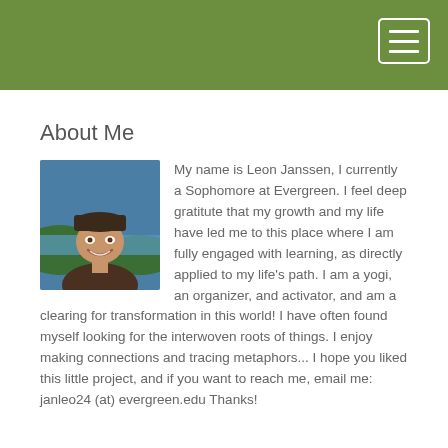About Me
[Figure (photo): Photo of Leon Janssen, a young man smiling outdoors wearing a dark beanie hat and jacket, with water and hills visible in the background.]
My name is Leon Janssen, I currently a Sophomore at Evergreen. I feel deep gratitute that my growth and my life have led me to this place where I am fully engaged with learning, as directly applied to my life's path. I am a yogi, an organizer, and activator, and am a clearing for transformation in this world! I have often found myself looking for the interwoven roots of things. I enjoy making connections and tracing metaphors... I hope you liked this little project, and if you want to reach me, email me: janleo24 (at) evergreen.edu Thanks!